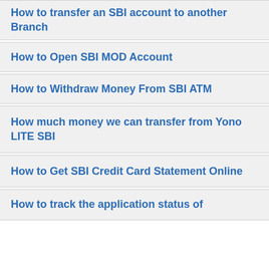How to transfer an SBI account to another Branch
How to Open SBI MOD Account
How to Withdraw Money From SBI ATM
How much money we can transfer from Yono LITE SBI
How to Get SBI Credit Card Statement Online
How to track the application status of